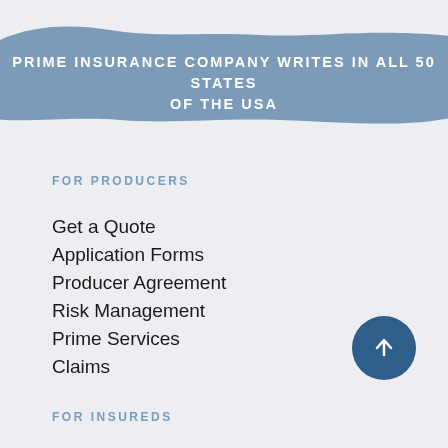PRIME INSURANCE COMPANY WRITES IN ALL 50 STATES OF THE USA
FOR PRODUCERS
Get a Quote
Application Forms
Producer Agreement
Risk Management
Prime Services
Claims
FOR INSUREDS
Login
File a Claim
ABOUT
Prime Companies